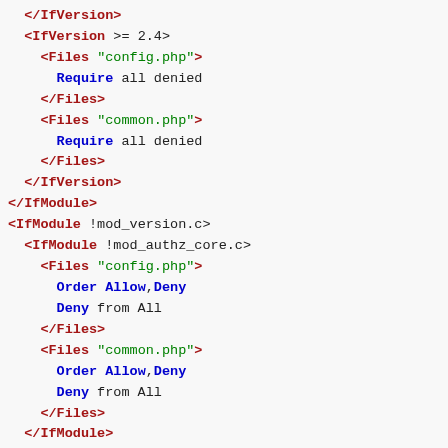Apache config code block showing IfVersion, IfModule, Files directives with access control rules